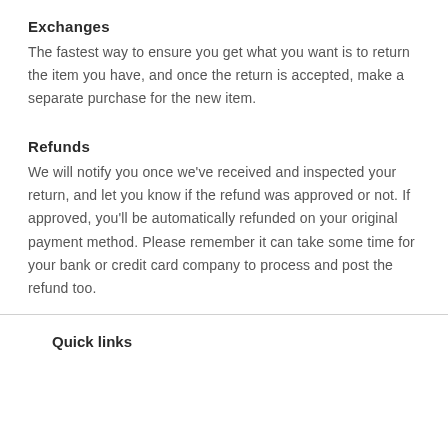Exchanges
The fastest way to ensure you get what you want is to return the item you have, and once the return is accepted, make a separate purchase for the new item.
Refunds
We will notify you once we've received and inspected your return, and let you know if the refund was approved or not. If approved, you'll be automatically refunded on your original payment method. Please remember it can take some time for your bank or credit card company to process and post the refund too.
Quick links